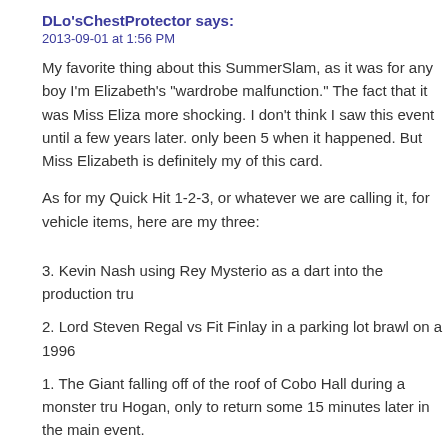DLo'sChestProtector says:
2013-09-01 at 1:56 PM
My favorite thing about this SummerSlam, as it was for any boy I'm Elizabeth's "wardrobe malfunction." The fact that it was Miss Eliza more shocking. I don't think I saw this event until a few years later only been 5 when it happened. But Miss Elizabeth is definitely my of this card.
As for my Quick Hit 1-2-3, or whatever we are calling it, for vehicle items, here are my three:
3. Kevin Nash using Rey Mysterio as a dart into the production tru
2. Lord Steven Regal vs Fit Finlay in a parking lot brawl on a 1996
1. The Giant falling off of the roof of Cobo Hall during a monster tru Hogan, only to return some 15 minutes later in the main event.
Another great episode boys, keep up the great work!
Reply to this comment
Lee Marshall's Mustache says: